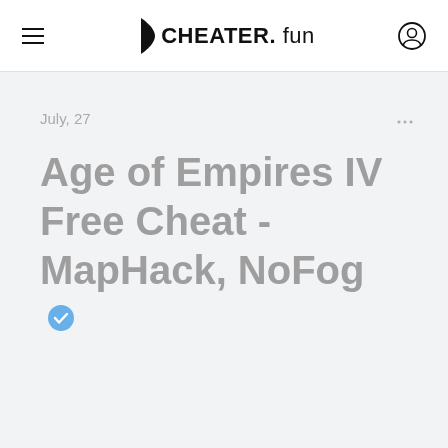CHEATER. fun
July, 27
Age of Empires IV Free Cheat - MapHack, NoFog